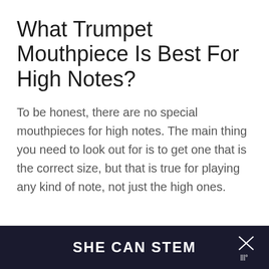What Trumpet Mouthpiece Is Best For High Notes?
To be honest, there are no special mouthpieces for high notes. The main thing you need to look out for is to get one that is the correct size, but that is true for playing any kind of note, not just the high ones.
SHE CAN STEM